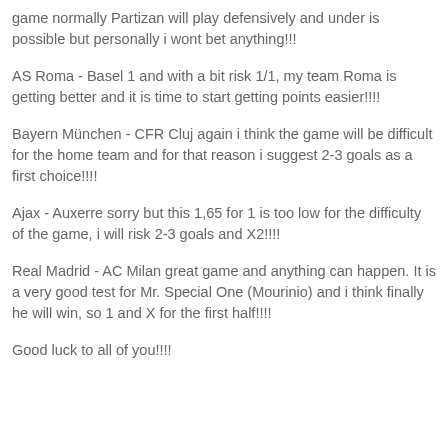game normally Partizan will play defensively and under is possible but personally i wont bet anything!!!
AS Roma - Basel 1 and with a bit risk 1/1, my team Roma is getting better and it is time to start getting points easier!!!!
Bayern München - CFR Cluj again i think the game will be difficult for the home team and for that reason i suggest 2-3 goals as a first choice!!!!
Ajax - Auxerre sorry but this 1,65 for 1 is too low for the difficulty of the game, i will risk 2-3 goals and X2!!!!
Real Madrid - AC Milan great game and anything can happen. It is a very good test for Mr. Special One (Mourinio) and i think finally he will win, so 1 and X for the first half!!!!
Good luck to all of you!!!!